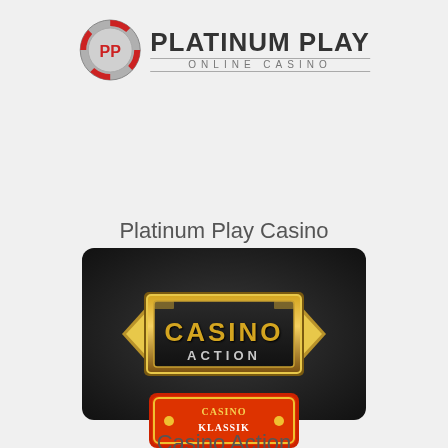[Figure (logo): Platinum Play Online Casino logo with casino chip icon and stylized text]
Platinum Play Casino
[Figure (logo): Casino Action logo — gold embossed text on dark background with decorative gold frame]
Casino Action
[Figure (logo): Casino Klassik logo — partially visible at bottom of page]